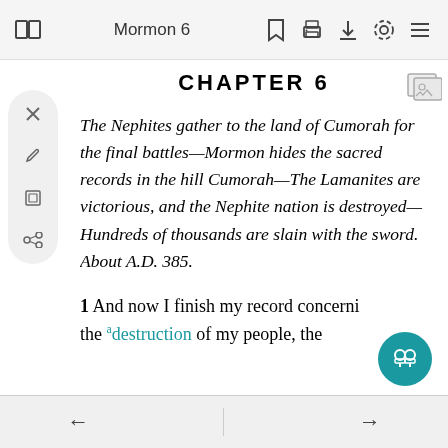Mormon 6
CHAPTER 6
The Nephites gather to the land of Cumorah for the final battles—Mormon hides the sacred records in the hill Cumorah—The Lamanites are victorious, and the Nephite nation is destroyed—Hundreds of thousands are slain with the sword. About A.D. 385.
1 And now I finish my record concerning the destruction of my people, the